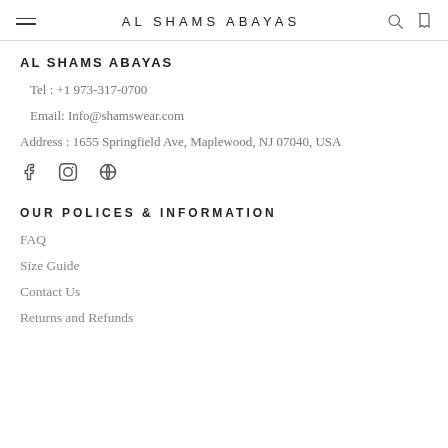AL SHAMS ABAYAS
AL SHAMS ABAYAS
Tel : +1 973-317-0700
Email: Info@shamswear.com
Address : 1655 Springfield Ave, Maplewood, NJ 07040, USA
[Figure (illustration): Social media icons: Facebook, Instagram, Pinterest]
OUR POLICES & INFORMATION
FAQ
Size Guide
Contact Us
Returns and Refunds